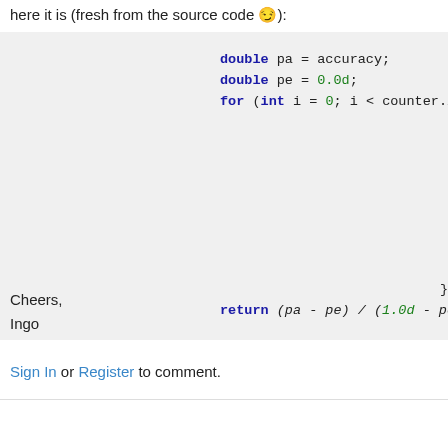here it is (fresh from the source code 😉):
[Figure (screenshot): Code snippet showing Java/similar code with syntax highlighting: double pa = accuracy; double pe = 0.0d; for (int i = 0; i < counter.l... double row = 0.0d; double column = 0.0d; for (int j = 0; j < c... row += counte... column += col... } //pe += ((row * colum... pe += ((row * column... } return (pa - pe) / (1.0d - pe...]
Cheers,
Ingo
Sign In or Register to comment.